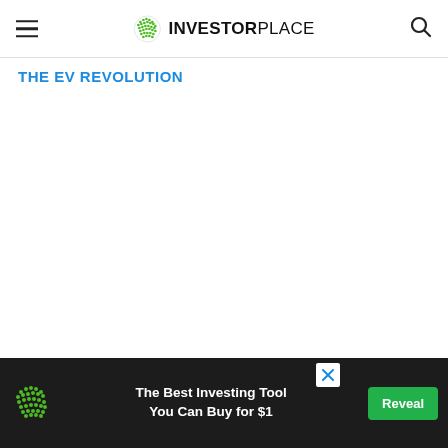INVESTORPLACE
THE EV REVOLUTION
[Figure (other): Advertisement banner at bottom: InvestorPlace logo, text 'The Best Investing Tool You Can Buy for $1', Reveal button]